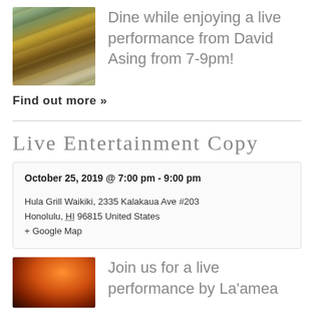[Figure (photo): Acoustic guitar with colorful background]
Dine while enjoying a live performance from David Asing from 7-9pm!
Find out more »
Live Entertainment Copy
October 25, 2019 @ 7:00 pm - 9:00 pm
Hula Grill Waikiki, 2335 Kalakaua Ave #203 Honolulu, HI 96815 United States
+ Google Map
[Figure (photo): Silhouette of hula dancer at sunset]
Join us for a live performance by La'amea